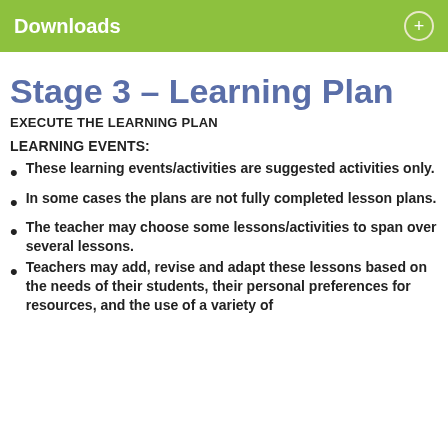Downloads
Stage 3 – Learning Plan
EXECUTE THE LEARNING PLAN
LEARNING EVENTS:
These learning events/activities are suggested activities only.
In some cases the plans are not fully completed lesson plans.
The teacher may choose some lessons/activities to span over several lessons.
Teachers may add, revise and adapt these lessons based on the needs of their students, their personal preferences for resources, and the use of a variety of